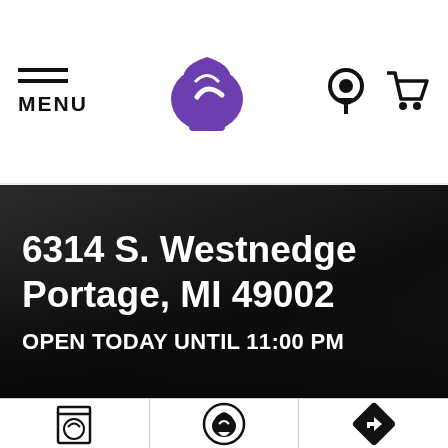MENU | Taco Bell logo | Location icon | Cart icon
6314 S. Westnedge
Portage, MI 49002
OPEN TODAY UNTIL 11:00 PM
[Figure (illustration): Bottom icon bar with three icons: Taco Bell bag (order), Taco Bell circle logo, navigation/directions arrow diamond icon]